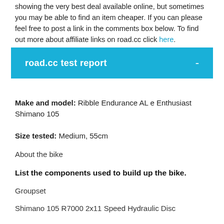showing the very best deal available online, but sometimes you may be able to find an item cheaper. If you can please feel free to post a link in the comments box below. To find out more about affiliate links on road.cc click here.
road.cc test report
Make and model: Ribble Endurance AL e Enthusiast Shimano 105
Size tested: Medium, 55cm
About the bike
List the components used to build up the bike.
Groupset
Shimano 105 R7000 2x11 Speed Hydraulic Disc